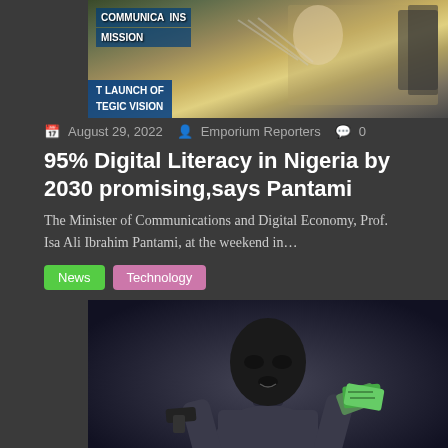[Figure (photo): Press conference photo showing a person at a podium with microphones, with text overlay showing 'COMMUNICATIONS COMMISSION', 'T LAUNCH OF', 'TEGIC VISION']
August 29, 2022  Emporium Reporters  0
95% Digital Literacy in Nigeria by 2030 promising,says Pantami
The Minister of Communications and Digital Economy, Prof. Isa Ali Ibrahim Pantami, at the weekend in…
News  Technology
[Figure (photo): A masked robber wearing a black balaclava, holding a gun in one hand and cash/money in the other hand, against a dark background]